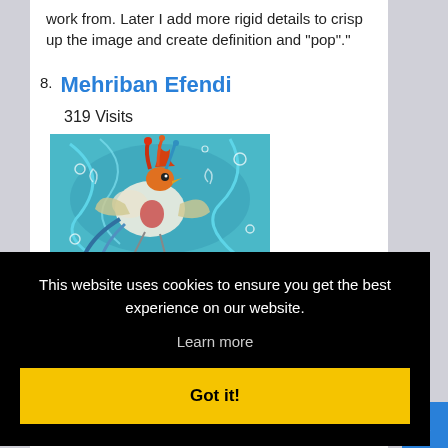work from. Later I add more rigid details to crisp up the image and create definition and "pop".
8. Mehriban Efendi
319 Visits
[Figure (illustration): Colorful abstract painting of a rooster/bird with swirling patterns in blue, teal, orange, and red tones]
This website uses cookies to ensure you get the best experience on our website.
Learn more
Got it!
human being.